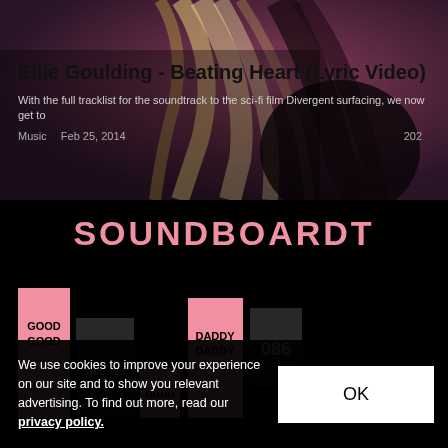[Figure (screenshot): Screenshot of a music article page. Top section shows a dark editorial image (person with blonde/dark hair) overlaid with article title 'Ellie Goulding - Beating Heart (Lyric Video)', a description excerpt, and metadata. Below is a black section showing 'SOUNDBOARDT' in pink lettering with album/single covers in pink and dark tiles. Bottom has a cookie consent banner.]
Ellie Goulding - Beating Heart (Lyric Video)
With the full tracklist for the soundtrack to the sci-fi film Divergent surfacing, we now get to
Music   Feb 25, 2014   202
SOUNDBOARDT
GOOD GOOD   THIS ASS   MMMM   DADDY DADDY   086   GIRLS SOMETHIN'
We use cookies to improve your experience on our site and to show you relevant advertising. To find out more, read our privacy policy.